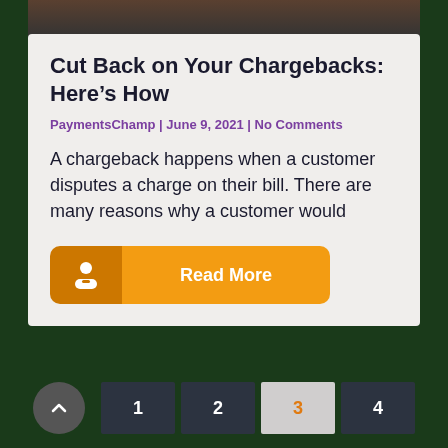[Figure (photo): Partial photo of a hand holding a phone near a payment terminal, dark background]
Cut Back on Your Chargebacks: Here's How
PaymentsChamp | June 9, 2021 | No Comments
A chargeback happens when a customer disputes a charge on their bill. There are many reasons why a customer would
Read More
1  2  3  4